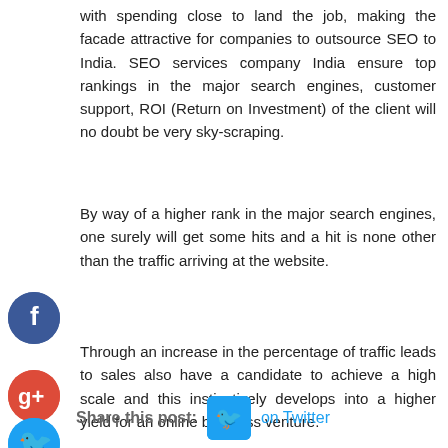with spending close to land the job, making the facade attractive for companies to outsource SEO to India. SEO services company India ensure top rankings in the major search engines, customer support, ROI (Return on Investment) of the client will no doubt be very sky-scraping.
By way of a higher rank in the major search engines, one surely will get some hits and a hit is none other than the traffic arriving at the website.
Through an increase in the percentage of traffic leads to sales also have a candidate to achieve a high scale and this instinctively develops into a higher yield for an online business venture.
Share this post:    on Twitter